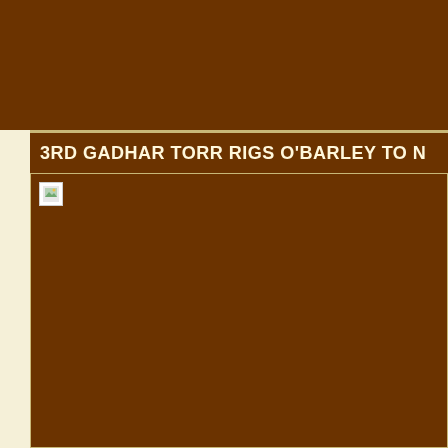[Figure (other): Dark brown top banner area]
3RD GADHAR TORR RIGS O'BARLEY TO N
[Figure (photo): Large dark brown image area with a broken image indicator in the top-left corner]